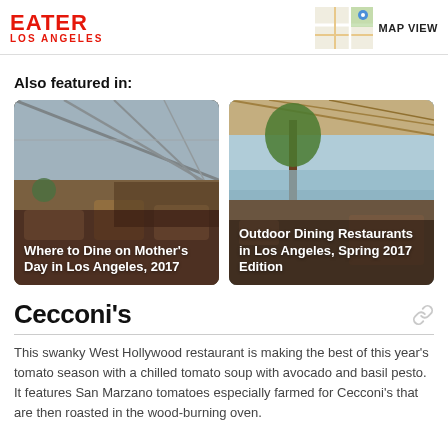EATER LOS ANGELES | MAP VIEW
Also featured in:
[Figure (photo): Restaurant interior with glass ceiling and warm golden lighting — card labeled 'Where to Dine on Mother's Day in Los Angeles, 2017']
[Figure (photo): Outdoor restaurant terrace with trees and ocean view — card labeled 'Outdoor Dining Restaurants in Los Angeles, Spring 2017 Edition']
Cecconi's
This swanky West Hollywood restaurant is making the best of this year's tomato season with a chilled tomato soup with avocado and basil pesto. It features San Marzano tomatoes especially farmed for Cecconi's that are then roasted in the wood-burning oven.